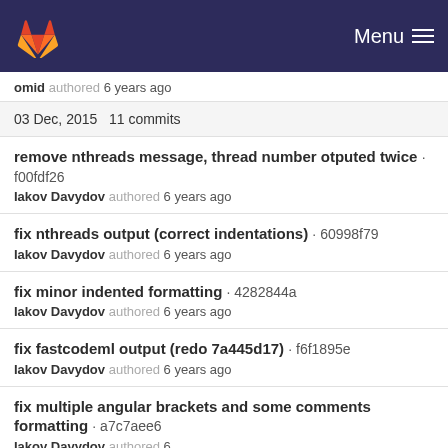GitLab — Menu
omid authored 6 years ago
03 Dec, 2015 11 commits
remove nthreads message, thread number otputed twice · f00fdf26
Iakov Davydov authored 6 years ago
fix nthreads output (correct indentations) · 60998f79
Iakov Davydov authored 6 years ago
fix minor indented formatting · 4282844a
Iakov Davydov authored 6 years ago
fix fastcodeml output (redo 7a445d17) · f6f1895e
Iakov Davydov authored 6 years ago
fix multiple angular brackets and some comments formatting · a7c7aee6
Iakov Davydov authored 6 years ago